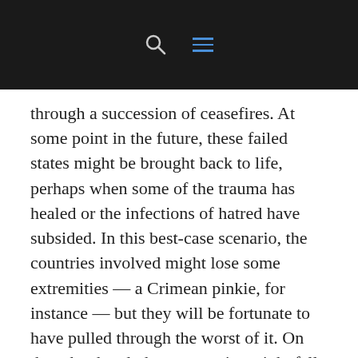[navigation bar with search and menu icons]
through a succession of ceasefires. At some point in the future, these failed states might be brought back to life, perhaps when some of the trauma has healed or the infections of hatred have subsided. In this best-case scenario, the countries involved might lose some extremities — a Crimean pinkie, for instance — but they will be fortunate to have pulled through the worst of it. On the other hand, these countries might fall apart no matter how long their deep freeze lasts, just as all those hopeful immortals who've opted to bury their dead bodies in tanks of liquid nitrogen will never likely thaw back to